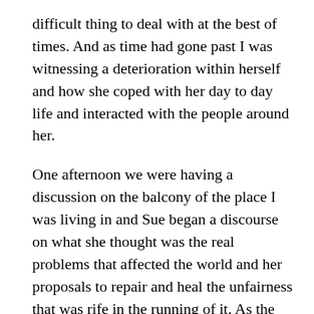difficult thing to deal with at the best of times. And as time had gone past I was witnessing a deterioration within herself and how she coped with her day to day life and interacted with the people around her.
One afternoon we were having a discussion on the balcony of the place I was living in and Sue began a discourse on what she thought was the real problems that affected the world and her proposals to repair and heal the unfairness that was rife in the running of it. As the afternoon went on she started to really escalate and become angrier and angrier, and speaking more in terms that were becoming quite unrealistic, finally reaching a tearful stage into what I was now beginning to realise was a manic episode that is associated with this